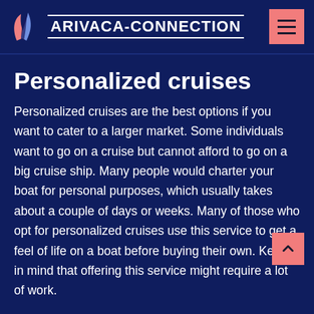ARIVACA-CONNECTION
Personalized cruises
Personalized cruises are the best options if you want to cater to a larger market. Some individuals want to go on a cruise but cannot afford to go on a big cruise ship. Many people would charter your boat for personal purposes, which usually takes about a couple of days or weeks. Many of those who opt for personalized cruises use this service to get a feel of life on a boat before buying their own. Keep in mind that offering this service might require a lot of work.
For instance, you might need to perform some interior